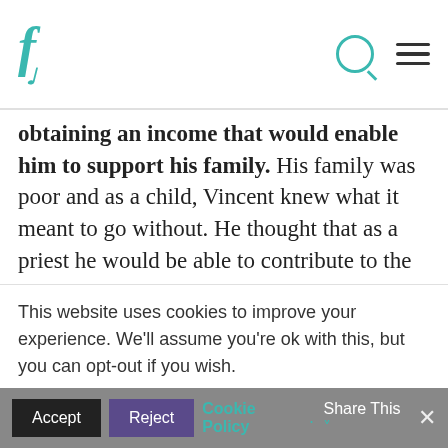f (logo)
obtaining an income that would enable him to support his family. His family was poor and as a child, Vincent knew what it meant to go without. He thought that as a priest he would be able to contribute to the support of his family. He had not yet envisioned his own mission. We can read the beautiful accounts of how the Lord called him through the dying man whom he
This website uses cookies to improve your experience. We'll assume you're ok with this, but you can opt-out if you wish.
Accept  Reject  Cookie Policy  Share This  ×